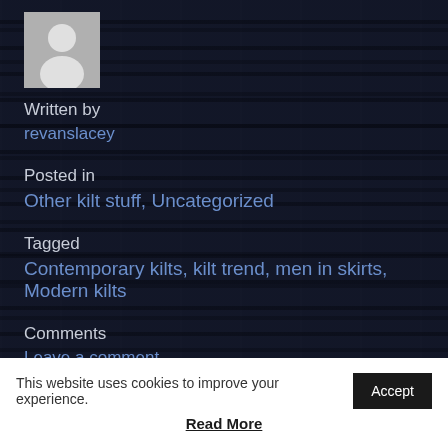[Figure (illustration): Grey avatar/profile placeholder icon on dark brick-textured background]
Written by
revanslacey
Posted in
Other kilt stuff, Uncategorized
Tagged
Contemporary kilts, kilt trend, men in skirts, Modern kilts
Comments
Leave a comment
This website uses cookies to improve your experience.
Accept
Read More